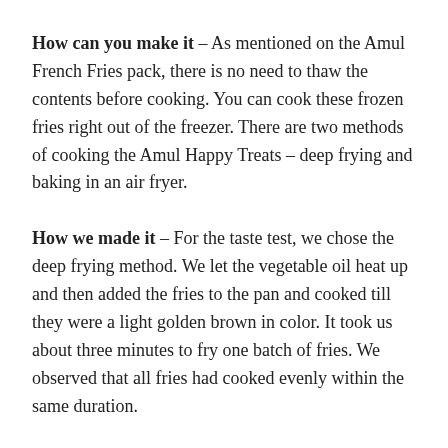How can you make it – As mentioned on the Amul French Fries pack, there is no need to thaw the contents before cooking. You can cook these frozen fries right out of the freezer. There are two methods of cooking the Amul Happy Treats – deep frying and baking in an air fryer.
How we made it – For the taste test, we chose the deep frying method. We let the vegetable oil heat up and then added the fries to the pan and cooked till they were a light golden brown in color. It took us about three minutes to fry one batch of fries. We observed that all fries had cooked evenly within the same duration.